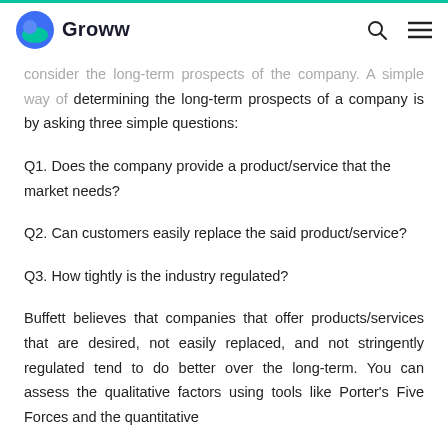Groww
consider the long-term prospects of the company. A simple way of determining the long-term prospects of a company is by asking three simple questions:
Q1. Does the company provide a product/service that the market needs?
Q2. Can customers easily replace the said product/service?
Q3. How tightly is the industry regulated?
Buffett believes that companies that offer products/services that are desired, not easily replaced, and not stringently regulated tend to do better over the long-term. You can assess the qualitative factors using tools like Porter's Five Forces and the quantitative